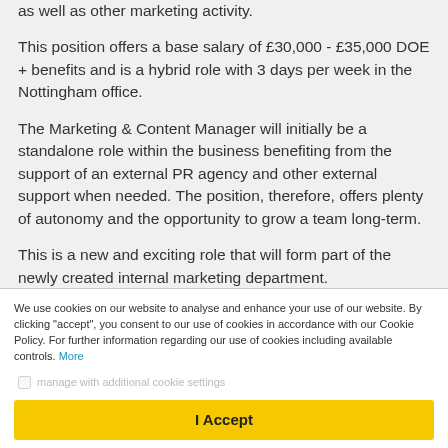as well as other marketing activity.
This position offers a base salary of £30,000 - £35,000 DOE + benefits and is a hybrid role with 3 days per week in the Nottingham office.
The Marketing & Content Manager will initially be a standalone role within the business benefiting from the support of an external PR agency and other external support when needed. The position, therefore, offers plenty of autonomy and the opportunity to grow a team long-term.
This is a new and exciting role that will form part of the newly created internal marketing department.
We use cookies on our website to analyse and enhance your use of our website. By clicking "accept", you consent to our use of cookies in accordance with our Cookie Policy. For further information regarding our use of cookies including available controls. More
I Accept